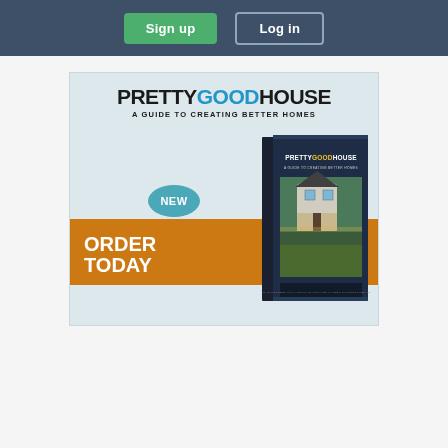Sign up | Log in
[Figure (infographic): Advertisement for 'Pretty Good House: A Guide to Creating Better Homes' book. Features the book title in large text with GOOD in blue, subtitle 'A GUIDE TO CREATING BETTER HOMES', a NEW badge in teal, an orange band with ORDER TODAY text, and an image of the book cover showing a house.]